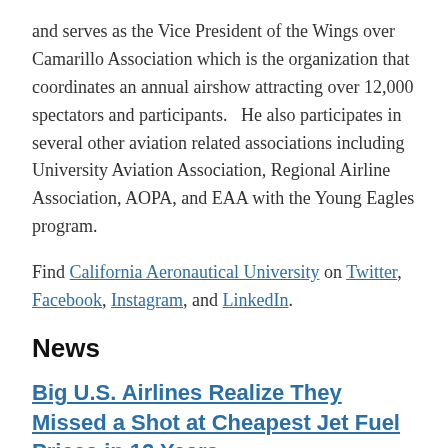and serves as the Vice President of the Wings over Camarillo Association which is the organization that coordinates an annual airshow attracting over 12,000 spectators and participants.   He also participates in several other aviation related associations including University Aviation Association, Regional Airline Association, AOPA, and EAA with the Young Eagles program.
Find California Aeronautical University on Twitter, Facebook, Instagram, and LinkedIn.
News
Big U.S. Airlines Realize They Missed a Shot at Cheapest Jet Fuel Prices in 12 Years
Jet fuel prices are up as much as 80 percent since January, and major jet fuel consumers didn't lock in low prices early in